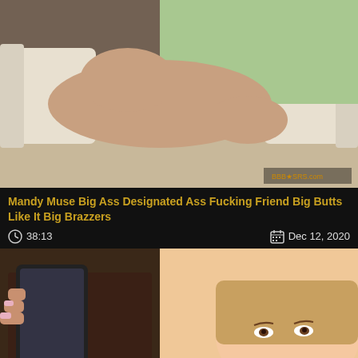[Figure (photo): Thumbnail image of adult video content - two people on a carpeted floor near a white couch, shot in a living room setting]
Mandy Muse Big Ass Designated Ass Fucking Friend Big Butts Like It Big Brazzers
38:13   Dec 12, 2020
[Figure (photo): Thumbnail image of adult video content - close-up of a young blonde woman looking up, with a hand holding a phone]